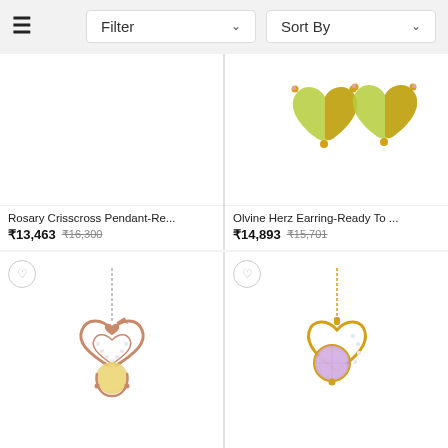Filter   Sort By
[Figure (photo): Rosary Crisscross Pendant - white background, no image visible]
[Figure (photo): Olvine Herz Earring - yellow/green heart-shaped gemstone earrings in gold setting]
Rosary Crisscross Pendant-Re...
₹13,463  (₹16,300)
Olvine Herz Earring-Ready To ...
₹14,893  (₹15,701)
[Figure (photo): Rose gold heart pendant with diamonds and citrine stone on silver chain]
[Figure (photo): Yellow gold heart pendant with diamonds and lavender/amethyst stone on gold chain]